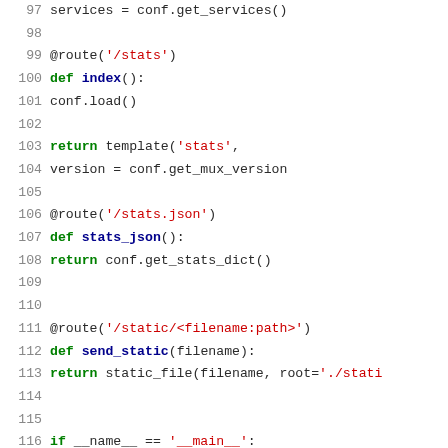[Figure (screenshot): Python source code snippet showing route definitions and main block, lines 97-123]